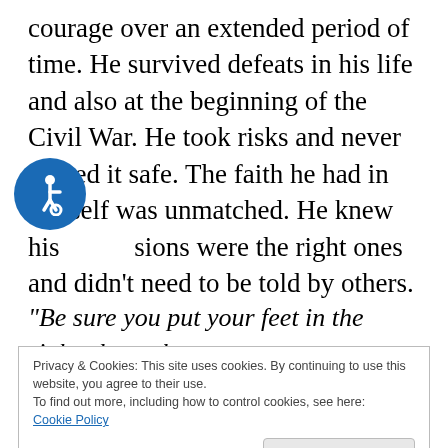courage over an extended period of time. He survived defeats in his life and also at the beginning of the Civil War. He took risks and never played it safe. The faith he had in himself was unmatched. He knew his decisions were the right ones and didn’t need to be told by others.
[Figure (illustration): Blue circular accessibility icon with wheelchair symbol]
“Be sure you put your feet in the right place, then
Privacy & Cookies: This site uses cookies. By continuing to use this website, you agree to their use.
To find out more, including how to control cookies, see here:
Cookie Policy
Close and accept
Because of their position, Great leaders will be